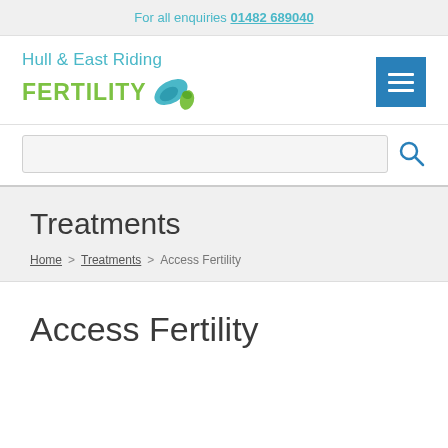For all enquiries 01482 689040
[Figure (logo): Hull & East Riding FERTILITY logo with stylized bird/leaf icon and hamburger menu button]
[Figure (screenshot): Search input bar with search icon]
Treatments
Home > Treatments > Access Fertility
Access Fertility